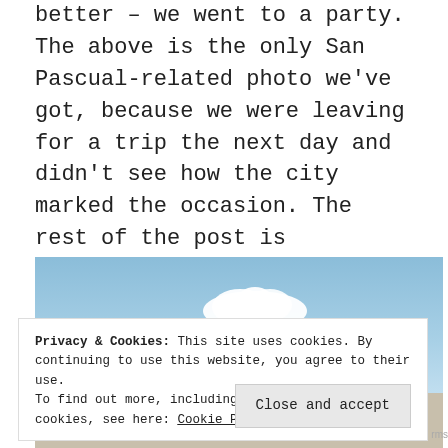better – we went to a party. The above is the only San Pascual-related photo we've got, because we were leaving for a trip the next day and didn't see how the city marked the occasion. The rest of the post is
Continue reading »
[Figure (photo): Photo showing a blue sky with white clouds and a person's head/silhouette visible at the bottom right, with a street scene partially visible at the bottom]
Privacy & Cookies: This site uses cookies. By continuing to use this website, you agree to their use.
To find out more, including how to control cookies, see here: Cookie Policy
Close and accept